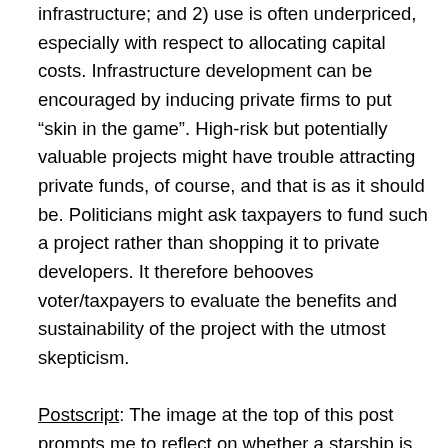infrastructure; and 2) use is often underpriced, especially with respect to allocating capital costs. Infrastructure development can be encouraged by inducing private firms to put “skin in the game”. High-risk but potentially valuable projects might have trouble attracting private funds, of course, and that is as it should be. Politicians might ask taxpayers to fund such a project rather than shopping it to private developers. It therefore behooves voter/taxpayers to evaluate the benefits and sustainability of the project with the utmost skepticism.

Postscript: The image at the top of this post prompts me to reflect on whether a starship is infrastructure. It is certainly a transportation system. Is it a public good? In a large sense, the diversification offered by spreading humanity across multiple worlds can be viewed as a benefit to mankind in the future. But rides on the starship would offer